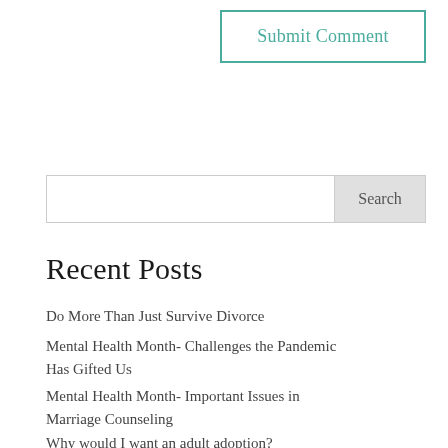Submit Comment
Search
Recent Posts
Do More Than Just Survive Divorce
Mental Health Month- Challenges the Pandemic Has Gifted Us
Mental Health Month- Important Issues in Marriage Counseling
Why would I want an adult adoption?